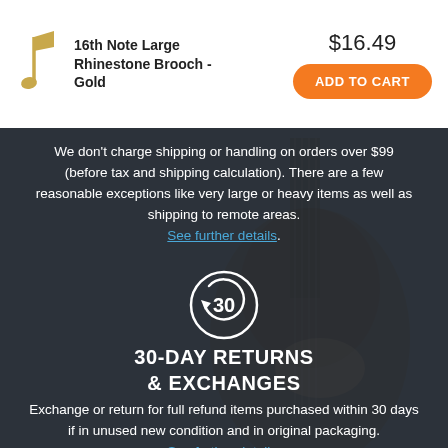[Figure (illustration): Musical note icon (gold/yellow color) for product image]
16th Note Large Rhinestone Brooch - Gold
$16.49
ADD TO CART
We don't charge shipping or handling on orders over $99 (before tax and shipping calculation). There are a few reasonable exceptions like very large or heavy items as well as shipping to remote areas. See further details.
[Figure (infographic): 30-day returns circle icon with arrow and the number 30 inside]
30-DAY RETURNS & EXCHANGES
Exchange or return for full refund items purchased within 30 days if in unused new condition and in original packaging. See further details.